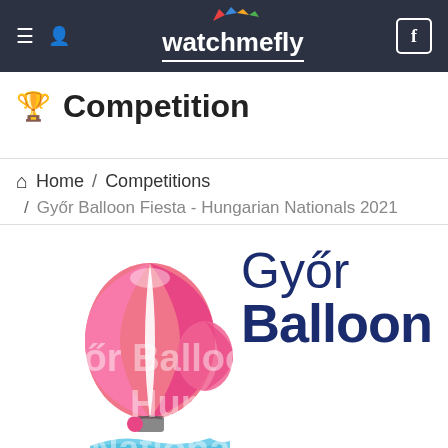watchmefly
Competition
Home / Competitions
/ Győr Balloon Fiesta - Hungarian Nationals 2021
[Figure (logo): Győr Balloon Fiesta Hungarian Nationals 2021 event logo with pink hot air balloon illustration and text]